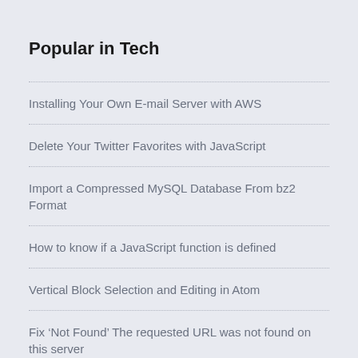Popular in Tech
Installing Your Own E-mail Server with AWS
Delete Your Twitter Favorites with JavaScript
Import a Compressed MySQL Database From bz2 Format
How to know if a JavaScript function is defined
Vertical Block Selection and Editing in Atom
Fix ‘Not Found’ The requested URL was not found on this server
Open Source IMAP Mail Filtering for PHP